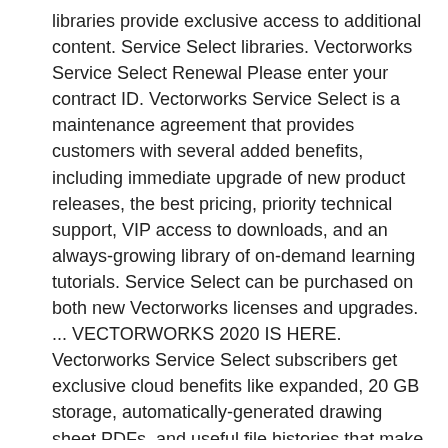libraries provide exclusive access to additional content. Service Select libraries. Vectorworks Service Select Renewal Please enter your contract ID. Vectorworks Service Select is a maintenance agreement that provides customers with several added benefits, including immediate upgrade of new product releases, the best pricing, priority technical support, VIP access to downloads, and an always-growing library of on-demand learning tutorials. Service Select can be purchased on both new Vectorworks licenses and upgrades. ... VECTORWORKS 2020 IS HERE. Vectorworks Service Select subscribers get exclusive cloud benefits like expanded, 20 GB storage, automatically-generated drawing sheet PDFs, and useful file histories that make it even easier to design anytime, anywhere. You'll have 20 GB of storage with Vectorworks Cloud Services (over the standard 2 GB), making Vectorworks Service Select the best option to get the most out of your software.